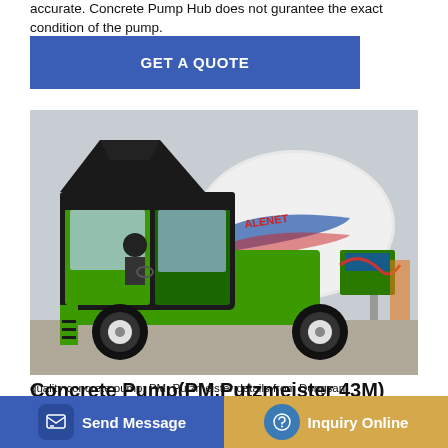accurate. Concrete Pump Hub does not gurantee the exact condition of the pump.
[Figure (other): Blue GET A QUOTE button]
[Figure (photo): Green self-loading concrete mixer truck (ALENET brand) with a person sitting in the cab, photographed on a construction site.]
Concrete Pump(PM,Putzmeister 43M) (id:2469180) Product
quality concrete pump; PM, Putzmeister details from Dongsan
[Figure (other): Bottom navigation bar with 'Send Message' button on the left (blue) and 'Inquiry Online' button on the right (tan/gold)]